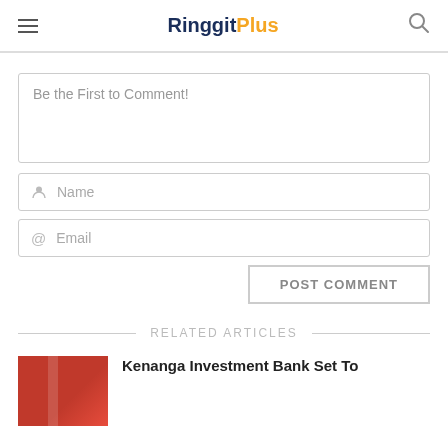RinggitPlus
Be the First to Comment!
Name
Email
POST COMMENT
RELATED ARTICLES
Kenanga Investment Bank Set To